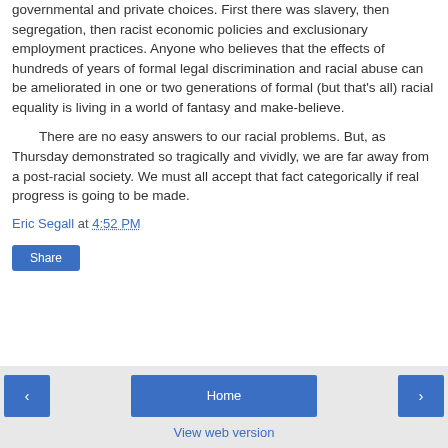governmental and private choices. First there was slavery, then segregation, then racist economic policies and exclusionary employment practices. Anyone who believes that the effects of hundreds of years of formal legal discrimination and racial abuse can be ameliorated in one or two generations of formal (but that's all) racial equality is living in a world of fantasy and make-believe.
There are no easy answers to our racial problems. But, as Thursday demonstrated so tragically and vividly, we are far away from a post-racial society. We must all accept that fact categorically if real progress is going to be made.
Eric Segall at 4:52 PM
Share
‹   Home   ›   View web version